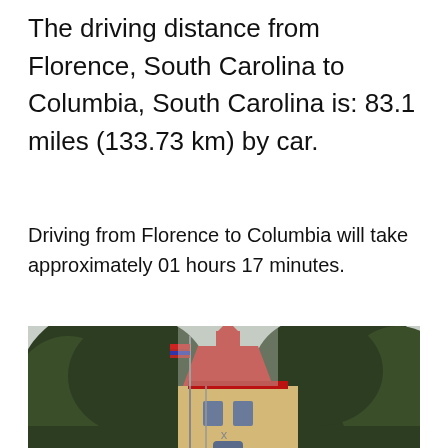The driving distance from Florence, South Carolina to Columbia, South Carolina is: 83.1 miles (133.73 km) by car.
Driving from Florence to Columbia will take approximately 01 hours 17 minutes.
[Figure (photo): Photograph of a historic red-roofed building with gothic architectural details, partially obscured by large trees. A flagpole is visible in front of the building. The sky is overcast.]